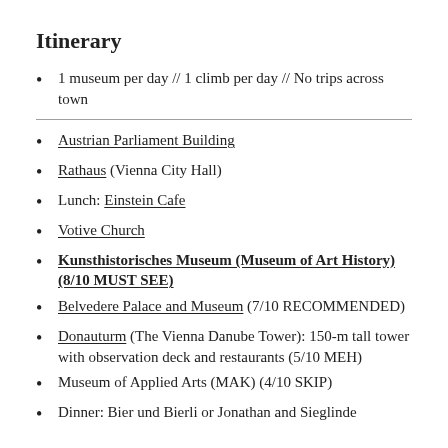Itinerary
1 museum per day // 1 climb per day // No trips across town
Austrian Parliament Building
Rathaus (Vienna City Hall)
Lunch: Einstein Cafe
Votive Church
Kunsthistorisches Museum (Museum of Art History) (8/10 MUST SEE)
Belvedere Palace and Museum (7/10 RECOMMENDED)
Donauturm (The Vienna Danube Tower): 150-m tall tower with observation deck and restaurants (5/10 MEH)
Museum of Applied Arts (MAK) (4/10 SKIP)
Dinner: Bier und Bierli or Jonathan and Sieglinde